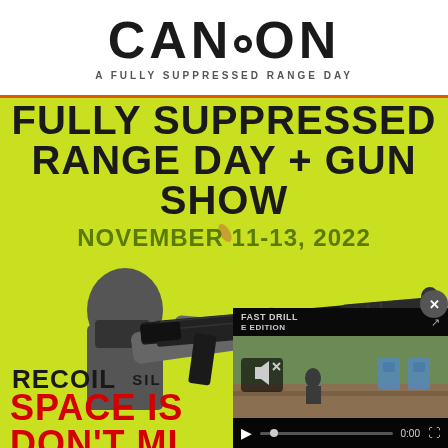CANCON
A FULLY SUPPRESSED RANGE DAY
FULLY SUPPRESSED RANGE DAY + GUN SHOW
NOVEMBER 11-13, 2022
[Figure (photo): Man firing a suppressed AR-style rifle with a spent casing ejecting, on a yellow-green background]
RECOIL   SIL
SPACE IS
DON'T MI
[Figure (screenshot): Video player overlay showing 'FAST DRILL: CAR' with muted speaker icon, play button, progress bar showing 0:00, and shooting range scene with blue target shapes]